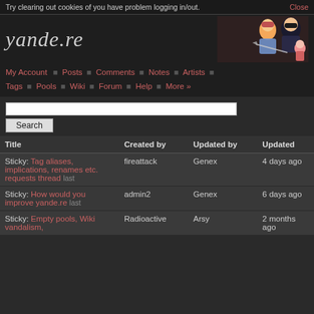Try clearing out cookies of you have problem logging in/out.   Close
[Figure (illustration): yande.re logo with anime characters]
My Account ■ Posts ■ Comments ■ Notes ■ Artists ■ Tags ■ Pools ■ Wiki ■ Forum ■ Help ■ More »
Search
| Title | Created by | Updated by | Updated |
| --- | --- | --- | --- |
| Sticky: Tag aliases, implications, renames etc. requests thread last | fireattack | Genex | 4 days ago |
| Sticky: How would you improve yande.re last | admin2 | Genex | 6 days ago |
| Sticky: Empty pools, Wiki vandalism, | Radioactive | Arsy | 2 months ago |